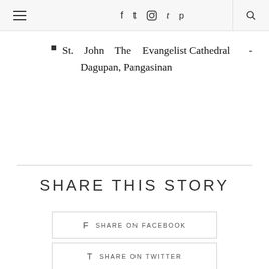≡  f  t  Instagram  t  p  🔍
St. John The Evangelist Cathedral - Dagupan, Pangasinan
SHARE THIS STORY
f  SHARE ON FACEBOOK
t  SHARE ON TWITTER